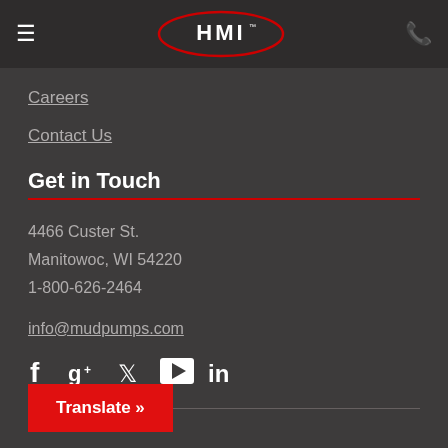HMI — navigation header with hamburger menu, HMI logo, and phone icon
Careers
Contact Us
Get in Touch
4466 Custer St.
Manitowoc, WI 54220
1-800-626-2464
info@mudpumps.com
[Figure (infographic): Social media icons: Facebook, Google+, Twitter, YouTube, LinkedIn]
Translate »